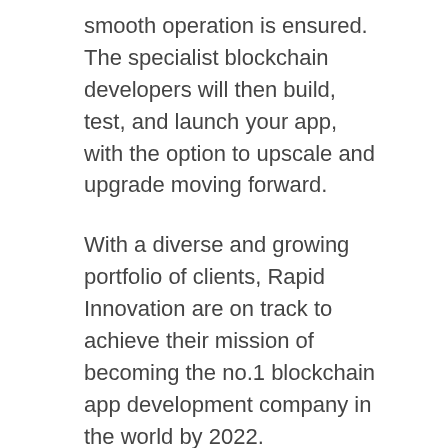smooth operation is ensured. The specialist blockchain developers will then build, test, and launch your app, with the option to upscale and upgrade moving forward.
With a diverse and growing portfolio of clients, Rapid Innovation are on track to achieve their mission of becoming the no.1 blockchain app development company in the world by 2022.
To see how they've used blockchain technology for their clients, take a look at Rapid Innovation's portfolio.
More Information
Rapid Innovation help businesses like yours